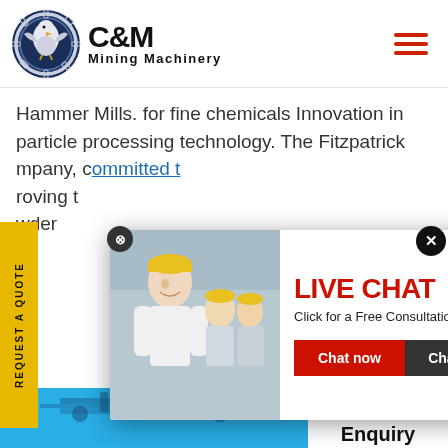[Figure (logo): C&M Mining Machinery logo with gear/eagle icon]
Hammer Mills. for fine chemicals Innovation in particle processing technology. The Fitzpatrick company, committed to improving the powder
[Figure (infographic): Live Chat popup overlay with workers in hard hats image, LIVE CHAT title in red, Click for a Free Consultation subtitle, Chat now and Chat later buttons]
[Figure (photo): Customer service agent with headset - Click to Chat widget on right side]
Click to Chat
Enquiry